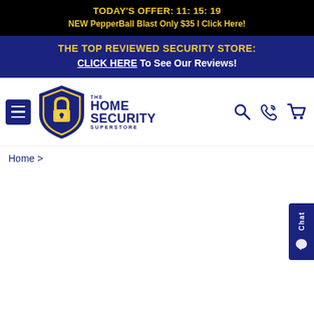TODAY'S OFFER: 11: 15: 19
NEW PepperBall Blast Only $35 | Click Here!
THE TOP REVIEWED SECURITY STORE:
CLICK HERE To See Our Reviews!
[Figure (logo): The Home Security Superstore logo with shield icon and hamburger menu, search, phone, and cart icons]
Home >